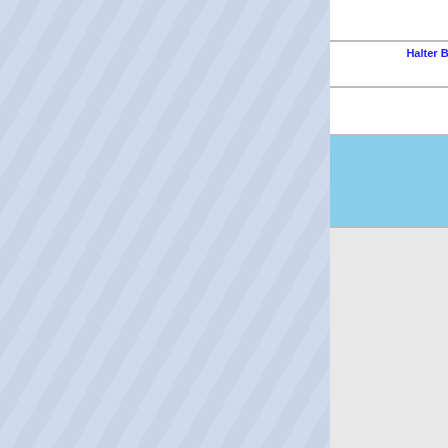$3.00
$3.00
[Figure (photo): Model wearing blue halter bikini top and side tie bottom, Rainbow brand watermark]
Halter Bikini Top And Side Tie Bottom
$3.00
[Figure (photo): Model wearing yellow-green halter bikini top and side tie bottom, Rainbow brand watermark]
Halter Bikini Top And Side Tie Bottom
$3.00
[Figure (photo): Model wearing pink caged bikini set, Rainbow brand watermark]
Caged Bikini Set
$3.00
[Figure (photo): Model wearing neutral/nude caged bikini set, Rainbow brand watermark]
Caged Bikini Set
$3.00